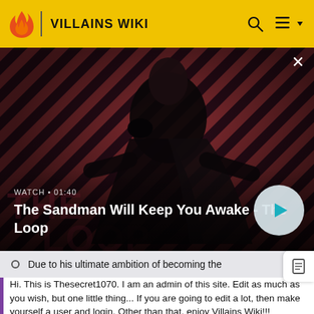VILLAINS WIKI
[Figure (screenshot): Video banner showing a dark-robed figure with a raven on shoulder against a red and dark diagonal stripe background. Text overlay reads WATCH 01:40 and The Sandman Will Keep You Awake - The Loop. THE LOOP watermark text visible in background. Play button on right side. Close X button top right.]
Due to his ultimate ambition of becoming the
Hi. This is Thesecret1070. I am an admin of this site. Edit as much as you wish, but one little thing... If you are going to edit a lot, then make yourself a user and login. Other than that, enjoy Villains Wiki!!!